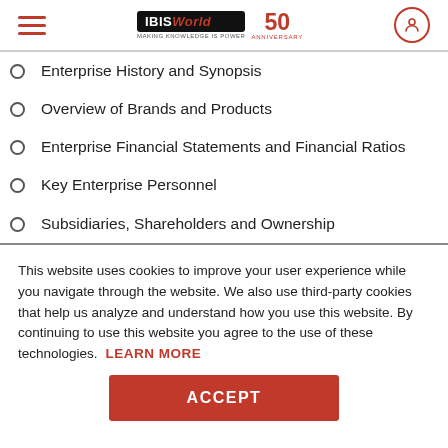IBISWorld 50th Anniversary
Enterprise History and Synopsis
Overview of Brands and Products
Enterprise Financial Statements and Financial Ratios
Key Enterprise Personnel
Subsidiaries, Shareholders and Ownership
This website uses cookies to improve your user experience while you navigate through the website. We also use third-party cookies that help us analyze and understand how you use this website. By continuing to use this website you agree to the use of these technologies. LEARN MORE
ACCEPT